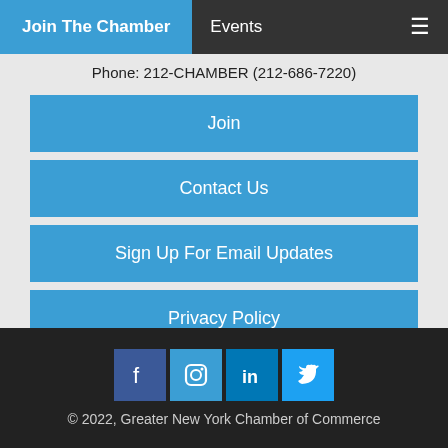Join The Chamber | Events
Phone: 212-CHAMBER (212-686-7220)
Join
Contact Us
Sign Up For Email Updates
Privacy Policy
Business Directory | Benefits | News | Events | Bulletin Board | Job Listings | Member Profiles | Chamber TV | About Us
© 2022, Greater New York Chamber of Commerce